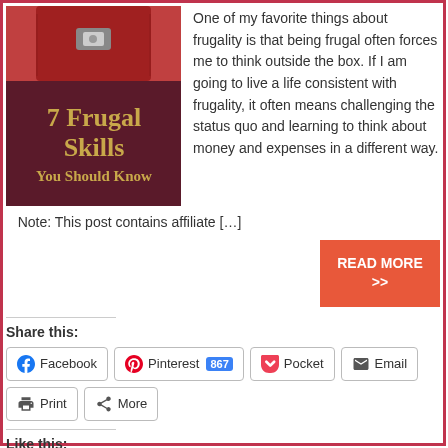[Figure (illustration): Book/bag cover image with text '7 Frugal Skills You Should Know' on a dark red background with a red leather bag strap visible.]
One of my favorite things about frugality is that being frugal often forces me to think outside the box.  If I am going to live a life consistent with frugality, it often means challenging the status quo and learning to think about money and expenses in a different way.   Note: This post contains affiliate […]
READ MORE >>
Share this:
Facebook
Pinterest 867
Pocket
Email
Print
More
Like this:
Like